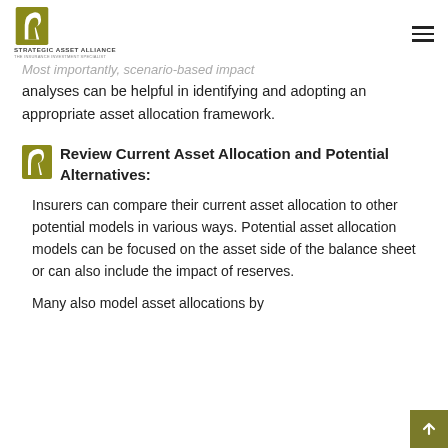STRATEGIC ASSET ALLIANCE
Most importantly, scenario-based impact analyses can be helpful in identifying and adopting an appropriate asset allocation framework.
Review Current Asset Allocation and Potential Alternatives:
Insurers can compare their current asset allocation to other potential models in various ways. Potential asset allocation models can be focused on the asset side of the balance sheet or can also include the impact of reserves.
Many also model asset allocations by